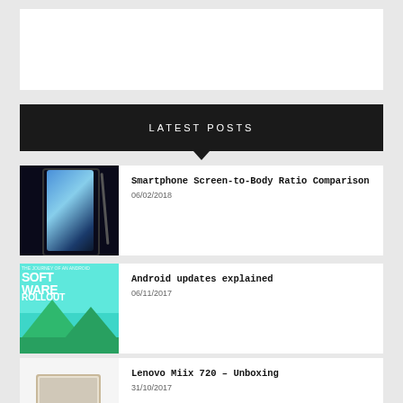[Figure (other): Advertisement banner white rectangle]
LATEST POSTS
[Figure (photo): Smartphone with large screen and stylus pen on dark background]
Smartphone Screen-to-Body Ratio Comparison
06/02/2018
[Figure (photo): Android Software Rollout graphic with teal mountains background]
Android updates explained
06/11/2017
[Figure (photo): Lenovo Miix 720 tablet with gold keyboard on white background]
Lenovo Miix 720 – Unboxing
31/10/2017